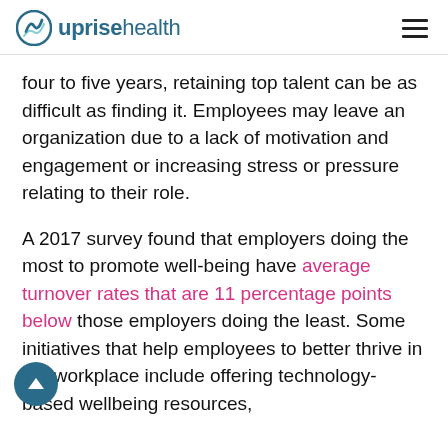uprise health
four to five years, retaining top talent can be as difficult as finding it. Employees may leave an organization due to a lack of motivation and engagement or increasing stress or pressure relating to their role.
A 2017 survey found that employers doing the most to promote well-being have average turnover rates that are 11 percentage points below those employers doing the least. Some initiatives that help employees to better thrive in the workplace include offering technology-based wellbeing resources,